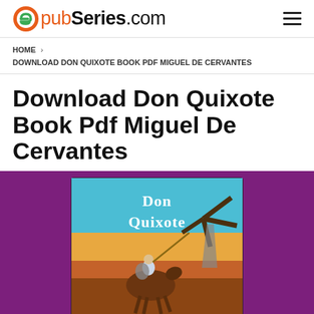epubSeries.com
HOME > DOWNLOAD DON QUIXOTE BOOK PDF MIGUEL DE CERVANTES
Download Don Quixote Book Pdf Miguel De Cervantes
[Figure (illustration): Don Quixote book cover showing a knight on horseback with a lance and windmill in the background, with text 'Don Quixote' at the top. Set against a purple background.]